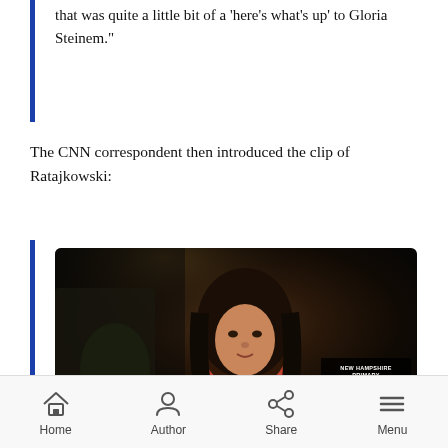that was quite a little bit of a 'here's what's up' to Gloria Steinem."
The CNN correspondent then introduced the clip of Ratajkowski:
[Figure (screenshot): CNN broadcast screenshot showing Emily Ratajkowski being interviewed. Lower thirds read: '2016 RACE', 'VOTERS HEAD TO POLLS IN NATION'S FIRST PRIMARY', 'Emily Ratajkowski | Model / Actress'. Top right shows a countdown '1 27 37' with 'NEW HAMPSHIRE PRIMARY COVERAGE BEGINS'. LIVE and CNN logo visible. Bottom ticker: 'LASH NATIONALLY IF HE DOES WELL WITH N.H.'S MORE MODERATE ELECTO NEWSROOM'.]
BRIANNA KEILAR: So we talked to her, and